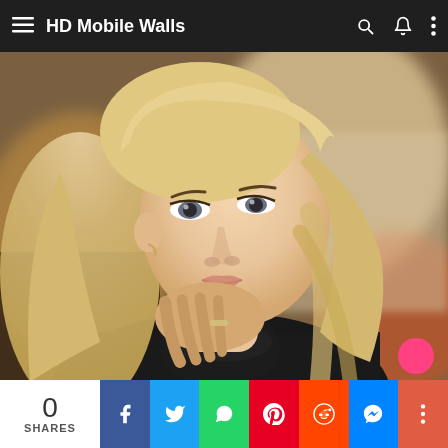HD Mobile Walls
[Figure (photo): Portrait photo of a young blonde woman in a black turtleneck sweater, hand near her chin, with a blurred warm autumn background]
0 SHARES
[Figure (infographic): Social share bar with Facebook, Twitter, WhatsApp, Pinterest, Reddit, Messenger, and More buttons]